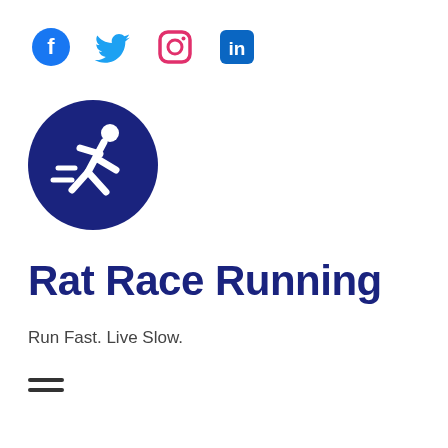[Figure (logo): Social media icons row: Facebook (blue circle with f), Twitter (blue bird), Instagram (pink/red camera outline), LinkedIn (blue square with 'in')]
[Figure (logo): Rat Race Running logo: dark blue circle with white running figure icon]
Rat Race Running
Run Fast. Live Slow.
[Figure (other): Hamburger menu icon: two horizontal dark lines]